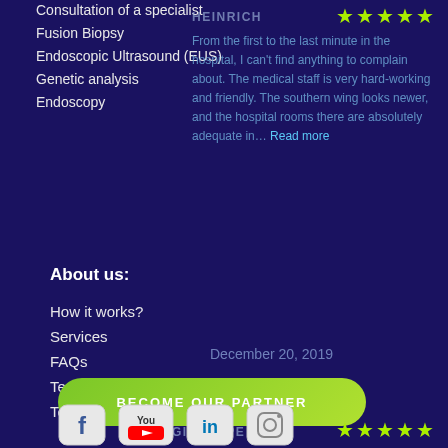Consultation of a specialist
Fusion Biopsy
Endoscopic Ultrasound (EUS)
Genetic analysis
Endoscopy
HEINRICH
[Figure (infographic): 5 yellow-green star rating]
From the first to the last minute in the hospital, I can't find anything to complain about. The medical staff is very hard-working and friendly. The southern wing looks newer, and the hospital rooms there are absolutely adequate in… Read more
About us:
How it works?
Services
FAQs
Testimonials page
Terms of use
December 20, 2019
BECOME OUR PARTNER
GIUSEPPE
[Figure (infographic): 5 yellow-green star rating]
[Figure (infographic): Social media icons: Facebook, YouTube, LinkedIn, Instagram]